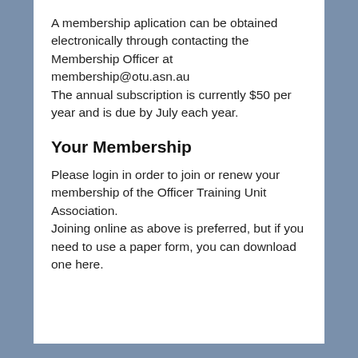A membership aplication can be obtained electronically through contacting the Membership Officer at membership@otu.asn.au
The annual subscription is currently $50 per year and is due by July each year.
Your Membership
Please login in order to join or renew your membership of the Officer Training Unit Association.
Joining online as above is preferred, but if you need to use a paper form, you can download one here.